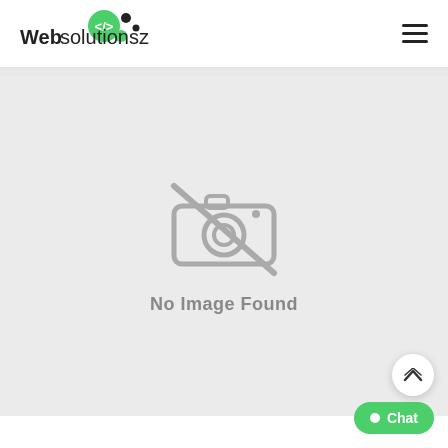Websolutionsz logo and navigation menu
[Figure (screenshot): No Image Found placeholder with a crossed-out camera icon on a light gray background]
No Image Found